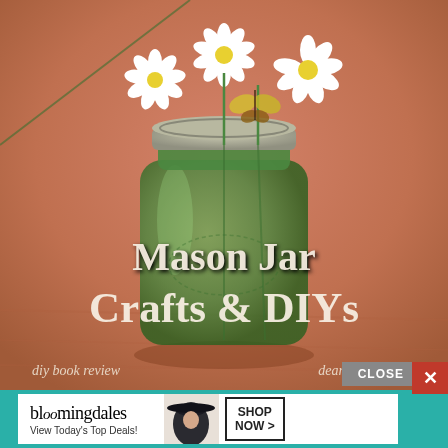[Figure (photo): A green mason jar with a silver lid, filled with white daisy flowers and yellow butterfly decorations, placed on a wooden surface with warm brown/peach background. Text overlay reads 'Mason Jar Crafts & DIYs' with subtitles 'diy book review' and 'dearsreatives.com'.]
[Figure (screenshot): Advertisement banner for Bloomingdale's with teal background, white ad box showing 'bloomingdales View Today's Top Deals!' with a woman in a hat image, 'SHOP NOW >' button, a 'CLOSE' button in gray, and a red 'X' close button.]